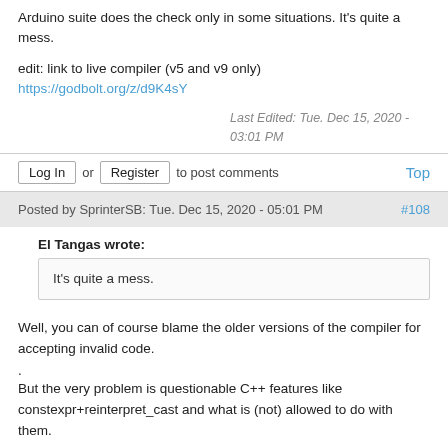Arduino suite does the check only in some situations. It's quite a mess.
edit: link to live compiler (v5 and v9 only) https://godbolt.org/z/d9K4sY
Last Edited: Tue. Dec 15, 2020 - 03:01 PM
Log In or Register to post comments Top
Posted by SprinterSB: Tue. Dec 15, 2020 - 05:01 PM #108
El Tangas wrote:
It's quite a mess.
Well, you can of course blame the older versions of the compiler for accepting invalid code.
. But the very problem is questionable C++ features like constexpr+reinterpret_cast and what is (not) allowed to do with them.
. Or you could blame avr-libc for only supplying SFR accesses via